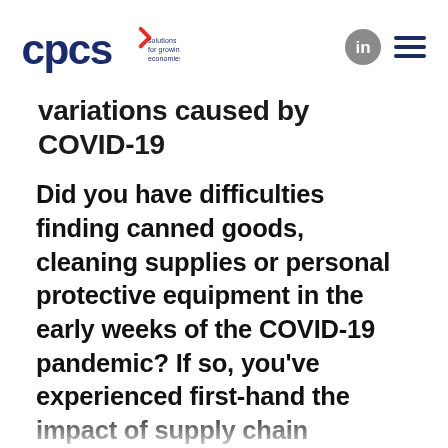CPCS — solutions for growing economies
variations caused by COVID-19
Did you have difficulties finding canned goods, cleaning supplies or personal protective equipment in the early weeks of the COVID-19 pandemic? If so, you've experienced first-hand the impact of supply chain disruptions.  From replenishing food at grocery [store distribution centers...]